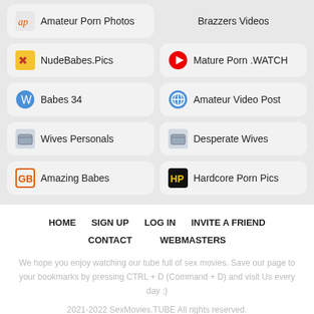Amateur Porn Photos
Brazzers Videos
NudeBabes.Pics
Mature Porn .WATCH
Babes 34
Amateur Video Post
Wives Personals
Desperate Wives
Amazing Babes
Hardcore Porn Pics
HOME   SIGN UP   LOG IN   INVITE A FRIEND   CONTACT   WEBMASTERS
We hope you enjoy watching our tube full of sex movies. Save our page to your bookmarks by pressing CTRL + D (Command + D) and visit Us every day ;)
2021-2022 SexMovies.TUBE All rights reserved.